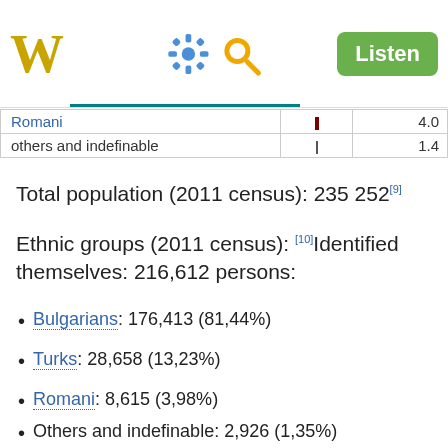W [Wikipedia logo] [gear icon] [search icon] Listen
| Group | Bar | Percentage |
| --- | --- | --- |
| Romani |  | 4.0 |
| others and indefinable |  | 1.4 |
Total population (2011 census): 235 252[9]
Ethnic groups (2011 census):[10] Identified themselves: 216,612 persons:
Bulgarians: 176,413 (81,44%)
Turks: 28,658 (13,23%)
Romani: 8,615 (3,98%)
Others and indefinable: 2,926 (1,35%)